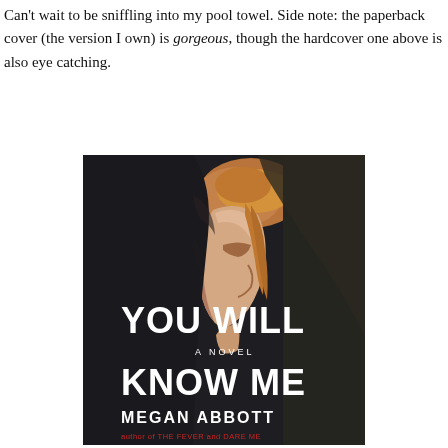Can't wait to be sniffling into my pool towel. Side note: the paperback cover (the version I own) is gorgeous, though the hardcover one above is also eye catching.
[Figure (photo): Book cover of 'You Will Know Me' by Megan Abbott. Dark background with a close-up profile of a woman with reddish-blonde hair pulled up. White bold text reads 'YOU WILL KNOW ME', smaller text 'A NOVEL' in the middle, and 'MEGAN ABBOTT' at the bottom, with red text 'author of THE FEVER and DARE ME' at the very bottom.]